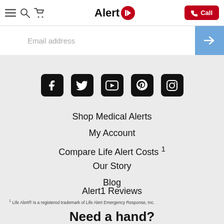Alert1 — Call
[Figure (screenshot): Email address input bar with blue submit arrow button]
[Figure (infographic): Social media icons row: Facebook, Twitter, YouTube, Pinterest, Instagram]
Shop Medical Alerts
My Account
Compare Life Alert Costs 1
Our Story
Blog
Alert1 Reviews
1 Life Alert® is a registered trademark of Life Alert Emergency Response, Inc.
Need a hand?